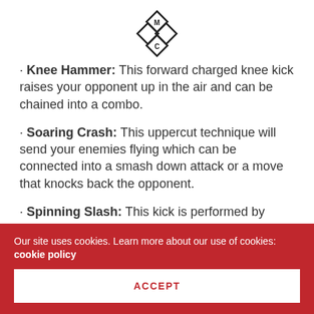[Figure (logo): Diamond-shaped geometric logo with M and C letters interlocked]
Knee Hammer: This forward charged knee kick raises your opponent up in the air and can be chained into a combo.
Soaring Crash: This uppercut technique will send your enemies flying which can be connected into a smash down attack or a move that knocks back the opponent.
Spinning Slash: This kick is performed by combining a spin with a kick
Massive Suppression: A devastating area...
Our site uses cookies. Learn more about our use of cookies: cookie policy
ACCEPT